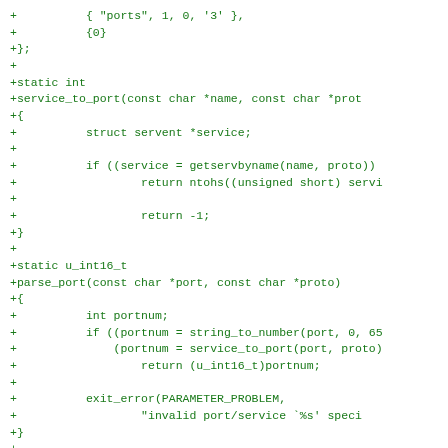+          { "ports", 1, 0, '3' },
+          {0}
+};
+
+static int
+service_to_port(const char *name, const char *prot
+{
+          struct servent *service;
+
+          if ((service = getservbyname(name, proto))
+                  return ntohs((unsigned short) servi
+
+                  return -1;
+}
+
+static u_int16_t
+parse_port(const char *port, const char *proto)
+{
+          int portnum;
+          if ((portnum = string_to_number(port, 0, 65
+              (portnum = service_to_port(port, proto)
+                  return (u_int16_t)portnum;
+
+          exit_error(PARAMETER_PROBLEM,
+                  "invalid port/service `%s' speci
+}
+
+static unsigned int
+parse_multi_ports(const char *portstring, u_int16_
+{